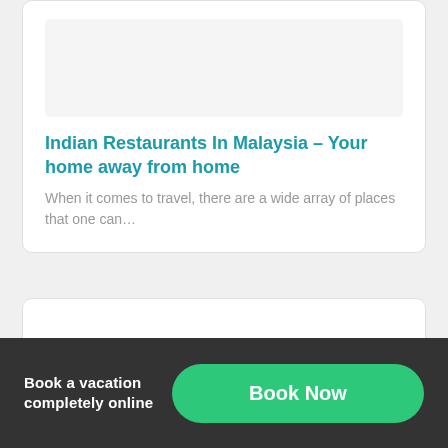[Figure (other): Partially visible card with image placeholder area at top of page]
Indian Restaurants In Malaysia – Your home away from home
When it comes to travel, there are a wide array of places that one can…
[Figure (other): Partially visible second card at bottom]
Book a vacation completely online
Book Now